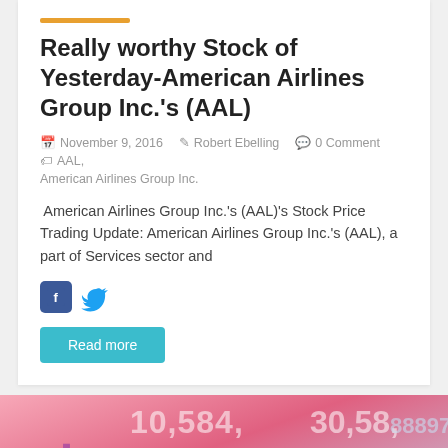Really worthy Stock of Yesterday-American Airlines Group Inc.'s (AAL)
November 9, 2016  Robert Ebelling  0 Comment  AAL, American Airlines Group Inc.
American Airlines Group Inc.'s (AAL)'s Stock Price Trading Update: American Airlines Group Inc.'s (AAL), a part of Services sector and
[Figure (illustration): Social media share icons: Facebook (blue square with white F) and Twitter (light blue bird icon)]
Read more
[Figure (photo): Stock market ticker display with financial numbers (10584, 30.58, 88987, etc.) and a large dollar sign symbol in pink/purple gradient tones]